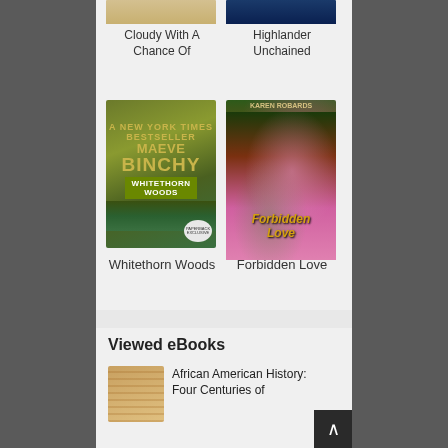[Figure (illustration): Partial view of book cover for 'Cloudy With A Chance Of...' at top left]
Cloudy With A Chance Of
[Figure (illustration): Partial view of book cover for 'Highlander Unchained' at top right]
Highlander Unchained
[Figure (illustration): Book cover for 'Whitethorn Woods' by Maeve Binchy]
Whitethorn Woods
[Figure (illustration): Book cover for 'Forbidden Love' by Karen Robards]
Forbidden Love
Viewed eBooks
[Figure (illustration): Thumbnail of book cover for 'African American History: Four Centuries of...']
African American History: Four Centuries of